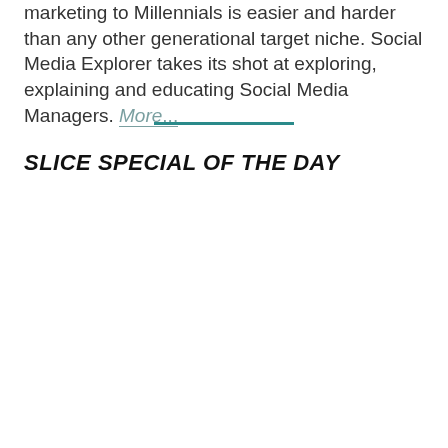marketing to Millennials is easier and harder than any other generational target niche. Social Media Explorer takes its shot at exploring, explaining and educating Social Media Managers. More...
SLICE SPECIAL OF THE DAY